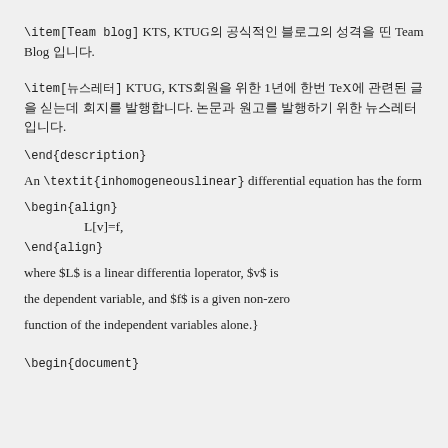\item[Team blog] KTS, KTUG의 공식적인 블로그의 성격을 띤 Team Blog 입니다.
\item[뉴스레터] KTUG, KTS회원을 위한 1년에 한번 TeX에 관련된 글을 싣는데 회지를 발행합니다. 논문과 원고를 발행하기 위한 뉴스레터입니다.
\end{description}
An \textit{inhomogeneouslinear} differential equation has the form
\begin{align}
\end{align}
where $L$ is a linear differentia loperator, $v$ is
the dependent variable, and $f$ is a given non-zero
function of the independent variables alone.}
\begin{document}